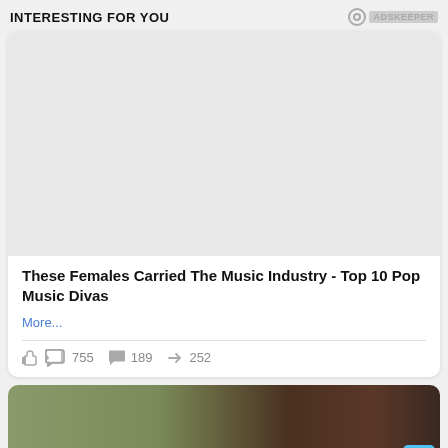INTERESTING FOR YOU
[Figure (other): ADSKEEPER logo/badge in top right corner]
[Figure (other): Large white card with blank image placeholder area]
These Females Carried The Music Industry - Top 10 Pop Music Divas
More...
755  189  252
[Figure (photo): Partial image of a blonde woman visible at bottom of page]